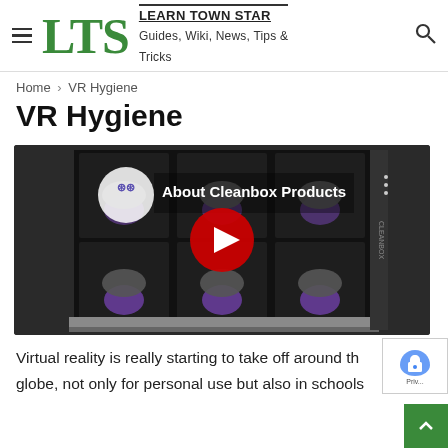LTS — LEARN TOWN STAR — Guides, Wiki, News, Tips & Tricks
Home › VR Hygiene
VR Hygiene
[Figure (screenshot): YouTube video thumbnail for 'About Cleanbox Products' showing a rack of VR headset sanitizing units with a red YouTube play button overlay and the Cleanbox logo]
Virtual reality is really starting to take off around the globe, not only for personal use but also in schools,